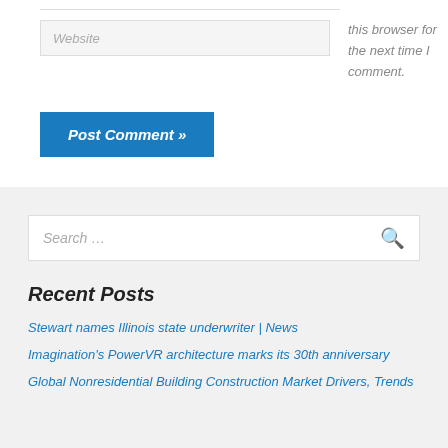Website
this browser for the next time I comment.
Post Comment »
Search …
Recent Posts
Stewart names Illinois state underwriter | News
Imagination's PowerVR architecture marks its 30th anniversary
Global Nonresidential Building Construction Market Drivers, Trends